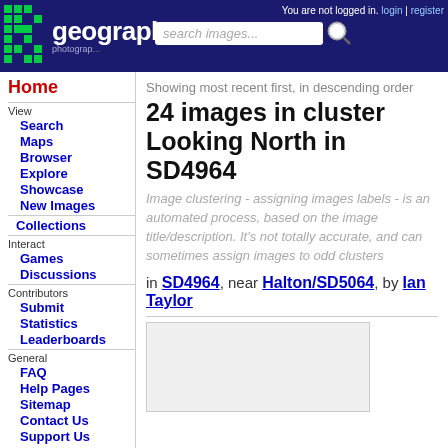Geograph - You are not logged in | login | register | search images...
Showing most recent first, in descending order
24 images in cluster Looking North in SD4964
Image clustering - assigning images labels - is an automated process, based on the image title/description. It's not totally accurate, and can sometimes assign images to odd clusters
in SD4964, near Halton/SD5064, by Ian Taylor
Home
Search
Maps
Browser
Explore
Showcase
New Images
Collections
Games
Discussions
Submit
Statistics
Leaderboards
FAQ
Help Pages
Sitemap
Contact Us
Support Us